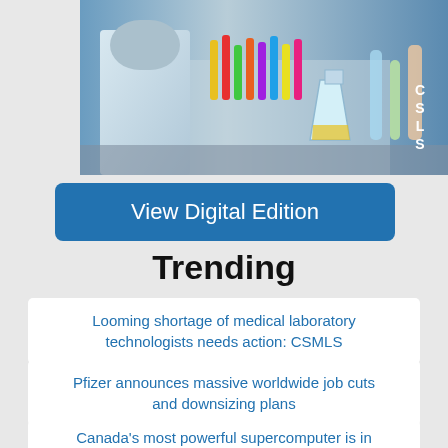[Figure (photo): Laboratory photo showing a scientist in a white coat working with colorful test tubes and glassware, with CSLS text overlay in the upper right corner]
View Digital Edition
Trending
Looming shortage of medical laboratory technologists needs action: CSMLS
Pfizer announces massive worldwide job cuts and downsizing plans
Canada's most powerful supercomputer is in